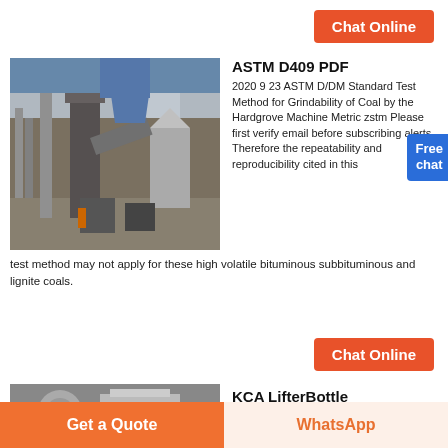Chat Online
[Figure (photo): Industrial grinding/milling facility with large pipes, silos and machinery outdoors]
ASTM D409 PDF
2020 9 23 ASTM D/DM Standard Test Method for Grindability of Coal by the Hardgrove Machine Metric zstm Please first verify email before subscribing alerts Therefore the repeatability and reproducibility cited in this test method may not apply for these high volatile bituminous subbituminous and lignite coals.
Free chat
Chat Online
[Figure (photo): KCA LifterBottle equipment photo]
KCA LifterBottle
Get a Quote
WhatsApp